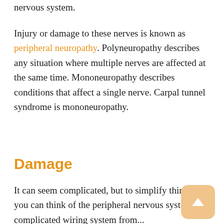nervous system.
Injury or damage to these nerves is known as peripheral neuropathy. Polyneuropathy describes any situation where multiple nerves are affected at the same time. Mononeuropathy describes conditions that affect a single nerve. Carpal tunnel syndrome is mononeuropathy.
Damage
It can seem complicated, but to simplify things, you can think of the peripheral nervous system as a complicated wiring system from...